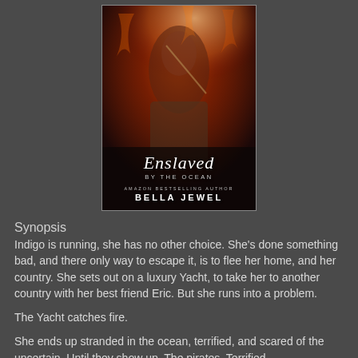[Figure (illustration): Book cover for 'Enslaved by the Ocean' by Bella Jewel. Features a shirtless male figure against a fiery/smoky background. Title in decorative script font, subtitle 'BY THE OCEAN' in spaced caps, and 'Amazon Bestselling Author BELLA JEWEL' at the bottom.]
Synopsis
Indigo is running, she has no other choice. She's done something bad, and there only way to escape it, is to flee her home, and her country. She sets out on a luxury Yacht, to take her to another country with her best friend Eric. But she runs into a problem.
The Yacht catches fire.
She ends up stranded in the ocean, terrified, and scared of the uncertain. Until they show up. The pirates. Terrified.